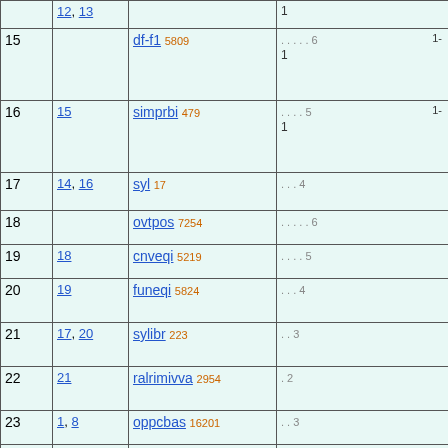| # | Parent | Name | Info |
| --- | --- | --- | --- |
|  | 12, 13 |  | 1 |
| 15 |  | df-f1 5809 | . . . . . 6   1-
1 |
| 16 | 15 | simprbi 479 | . . . . 5   1-
1 |
| 17 | 14, 16 | syl 17 | . . . 4 |
| 18 |  | ovtpos 7254 | . . . . . 6 |
| 19 | 18 | cnveqi 5219 | . . . . 5 |
| 20 | 19 | funeqi 5824 | . . . 4 |
| 21 | 17, 20 | sylibr 223 | . . 3 |
| 22 | 21 | ralrimivva 2954 | . 2 |
| 23 | 1, 8 | oppcbas 16201 | . . 3 |
| 24 | 23 | isfth 16397 | . 2 |